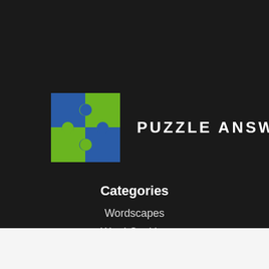[Figure (logo): Puzzle Answers logo: two-piece puzzle icon with blue and green segments, next to the text PUZZLE ANSWERS in white uppercase letters]
Categories
Wordscapes
Word Cookies
Word Crossy